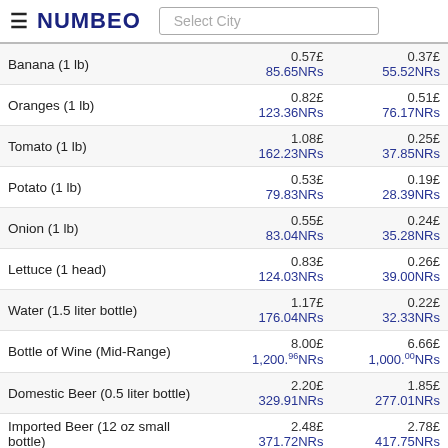NUMBEO | Select City
| Item | Price (GBP) | Price (NRs) |
| --- | --- | --- |
| Banana (1 lb) | 0.57£ / 85.65NRs | 0.37£ / 55.52NRs |
| Oranges (1 lb) | 0.82£ / 123.36NRs | 0.51£ / 76.17NRs |
| Tomato (1 lb) | 1.08£ / 162.23NRs | 0.25£ / 37.85NRs |
| Potato (1 lb) | 0.53£ / 79.83NRs | 0.19£ / 28.39NRs |
| Onion (1 lb) | 0.55£ / 83.04NRs | 0.24£ / 35.28NRs |
| Lettuce (1 head) | 0.83£ / 124.03NRs | 0.26£ / 39.00NRs |
| Water (1.5 liter bottle) | 1.17£ / 176.04NRs | 0.22£ / 32.33NRs |
| Bottle of Wine (Mid-Range) | 8.00£ / 1,200.96NRs | 6.66£ / 1,000.00NRs |
| Domestic Beer (0.5 liter bottle) | 2.20£ / 329.91NRs | 1.85£ / 277.01NRs |
| Imported Beer (12 oz small bottle) | 2.48£ / 371.72NRs | 2.78£ / 417.75NRs |